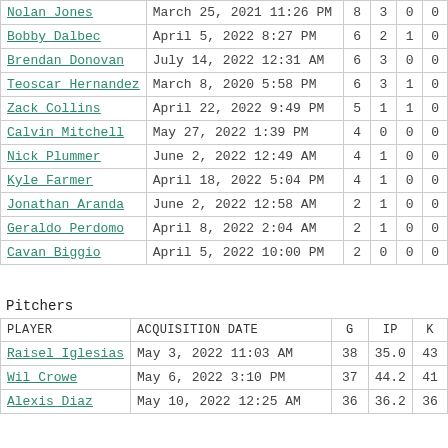| PLAYER | ACQUISITION DATE | G |  |  |  |
| --- | --- | --- | --- | --- | --- |
| Nolan Jones | March 25, 2021 11:26 PM | 8 | 3 | 0 | 0 |
| Bobby Dalbec | April 5, 2022 8:27 PM | 6 | 2 | 1 | 0 |
| Brendan Donovan | July 14, 2022 12:31 AM | 6 | 3 | 0 | 0 |
| Teoscar Hernandez | March 8, 2020 5:58 PM | 6 | 3 | 1 | 0 |
| Zack Collins | April 22, 2022 9:49 PM | 5 | 1 | 1 | 0 |
| Calvin Mitchell | May 27, 2022 1:39 PM | 4 | 0 | 0 | 0 |
| Nick Plummer | June 2, 2022 12:49 AM | 4 | 1 | 0 | 0 |
| Kyle Farmer | April 18, 2022 5:04 PM | 4 | 1 | 0 | 0 |
| Jonathan Aranda | June 2, 2022 12:58 AM | 2 | 1 | 0 | 0 |
| Geraldo Perdomo | April 8, 2022 2:04 AM | 2 | 1 | 0 | 0 |
| Cavan Biggio | April 5, 2022 10:00 PM | 2 | 0 | 0 | 0 |
Pitchers
| PLAYER | ACQUISITION DATE | G | IP | K |
| --- | --- | --- | --- | --- |
| Raisel Iglesias | May 3, 2022 11:03 AM | 38 | 35.0 | 43 |
| Wil Crowe | May 6, 2022 3:10 PM | 37 | 44.2 | 41 |
| Alexis Diaz | May 10, 2022 12:25 AM | 36 | 36.2 | 36 |